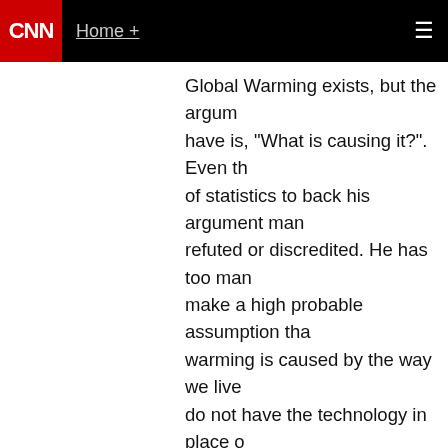CNN | Home +
Global Warming exists, but the argument we have is, "What is causing it?". Even the of statistics to back his argument many refuted or discredited. He has too many make a high probable assumption that warming is caused by the way we live do not have the technology in place on global warming to make sound decisions people financially and socially. What would the advancement of newer technologies us predict and make assumptions to explain the global warming. With this we might just a small piece of the puzzle when it comes to why there is global warming. I read an article the planet has actually cooled in the last mainly because there has been a reduction emitted from the sun. Well there you have it ball in the sky might actually be toying